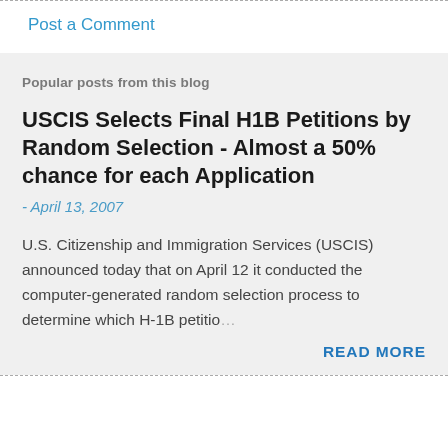Post a Comment
Popular posts from this blog
USCIS Selects Final H1B Petitions by Random Selection - Almost a 50% chance for each Application
- April 13, 2007
U.S. Citizenship and Immigration Services (USCIS) announced today that on April 12 it conducted the computer-generated random selection process to determine which H-1B petitio…
READ MORE